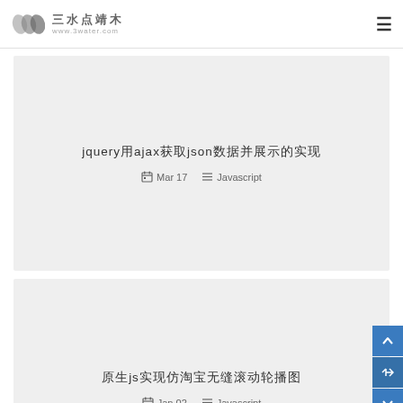三水点靖木 www.3water.com
jquery用ajax获取json数据并展示的实现
Mar 17  Javascript
原生js实现仿淘宝无缝滚动轮播图
Jan 02  Javascript